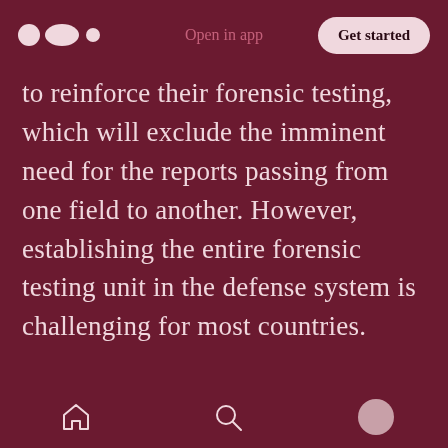Open in app  Get started
to reinforce their forensic testing, which will exclude the imminent need for the reports passing from one field to another. However, establishing the entire forensic testing unit in the defense system is challenging for most countries. Many other businesses decided to cut down on the costs of reports by hiring master experts. Though experts requested high prices, they are much cheaper in the long run than less educated ones. A first-rate reporting officer will construct the expert report with minimal mistakes, thus requiring fewer hours, when compared to a low-
Home  Search  Profile